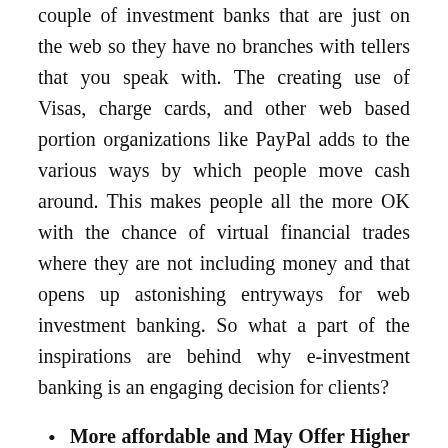couple of investment banks that are just on the web so they have no branches with tellers that you speak with. The creating use of Visas, charge cards, and other web based portion organizations like PayPal adds to the various ways by which people move cash around. This makes people all the more OK with the chance of virtual financial trades where they are not including money and that opens up astonishing entryways for web investment banking. So what a part of the inspirations are behind why e-investment banking is an engaging decision for clients?
More affordable and May Offer Higher Financing costs on Investment funds
One justification for why some are hurrying to virtual assets or direct investment banks is that these are more affordable. People are getting